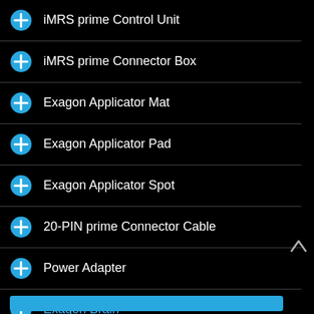iMRS prime Control Unit
iMRS prime Connector Box
Exagon Applicator Mat
Exagon Applicator Pad
Exagon Applicator Spot
20-PIN prime Connector Cable
Power Adapter
Exagon Brain
Exagon Sense
Software Tool: Program Mode